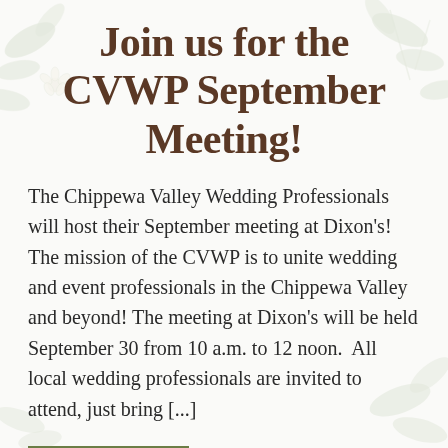[Figure (illustration): Faint watermark-style botanical illustration of leaves and flowers in light green/gray tones, positioned in background corners of the page.]
Join us for the CVWP September Meeting!
The Chippewa Valley Wedding Professionals will host their September meeting at Dixon's! The mission of the CVWP is to unite wedding and event professionals in the Chippewa Valley and beyond! The meeting at Dixon's will be held September 30 from 10 a.m. to 12 noon.  All local wedding professionals are invited to attend, just bring [...]
READ MORE >